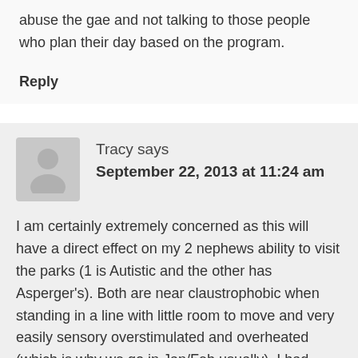abuse the gae and not talking to those people who plan their day based on the program.
Reply
Tracy says
September 22, 2013 at 11:24 am
I am certainly extremely concerned as this will have a direct effect on my 2 nephews ability to visit the parks (1 is Autistic and the other has Asperger's). Both are near claustrophobic when standing in a line with little room to move and very easily sensory overstimulated and overheated (which is why we go in Jan/Feb usually). I had written Disney about the